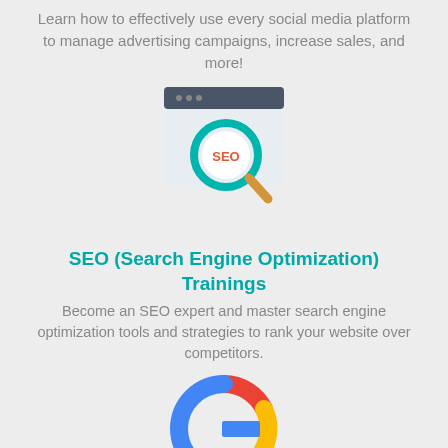Learn how to effectively use every social media platform to manage advertising campaigns, increase sales, and more!
[Figure (illustration): SEO magnifying glass over a browser window icon]
SEO (Search Engine Optimization) Trainings
Become an SEO expert and master search engine optimization tools and strategies to rank your website over competitors.
[Figure (logo): Google logo colorful G icon]
Google Analytics & Adwords Classes
Take advantage of Google's tools and learn how